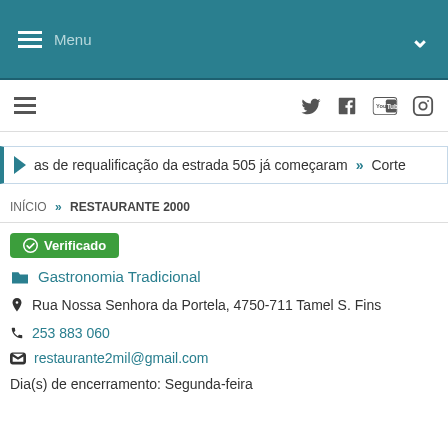Menu
Twitter, Facebook, YouTube, Instagram icons
as de requalificação da estrada 505 já começaram » Corte
INÍCIO » RESTAURANTE 2000
Verificado
Gastronomia Tradicional
Rua Nossa Senhora da Portela, 4750-711 Tamel S. Fins
253 883 060
restaurante2mil@gmail.com
Dia(s) de encerramento: Segunda-feira